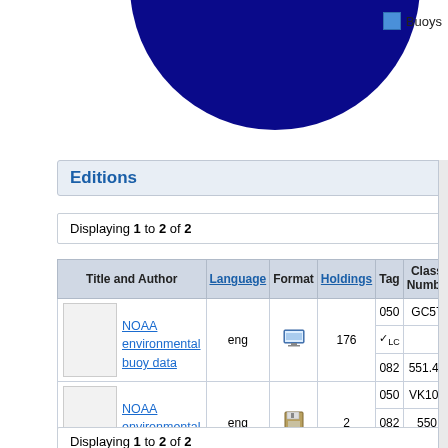[Figure (pie-chart): Partial pie chart (top half visible) showing a large dark navy blue segment and a small white/light slice. Represents 'Buoys' category.]
Buoys
Editions
Displaying 1 to 2 of 2
| Title and Author | Language | Format | Holdings | Tag | Class Number |
| --- | --- | --- | --- | --- | --- |
| NOAA environmental buoy data | eng | [monitor icon] | 176 | 050 ✓LC
082
050 | GC57
551.46
VK101 |
| NOAA environmental buoy data | eng | [disk icon] | 2 | 082
050 | 550
VK101 |
Displaying 1 to 2 of 2